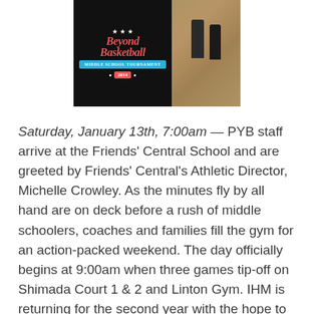[Figure (photo): Photo of a basketball tournament banner/shirt showing 'Beyond Basketball Middle School Tournament' logo with stars on a black background, with a gymnasium court scene with players visible on the right side.]
Saturday, January 13th, 7:00am — PYB staff arrive at the Friends' Central School and are greeted by Friends' Central's Athletic Director, Michelle Crowley. As the minutes fly by all hand are on deck before a rush of middle schoolers, coaches and families fill the gym for an action-packed weekend. The day officially begins at 9:00am when three games tip-off on Shimada Court 1 & 2 and Linton Gym. IHM is returning for the second year with the hope to compete for a championship; a game they narrowly missed